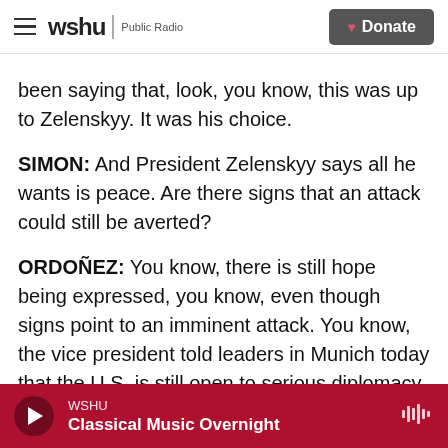wshu Public Radio | Donate
been saying that, look, you know, this was up to Zelenskyy. It was his choice.
SIMON: And President Zelenskyy says all he wants is peace. Are there signs that an attack could still be averted?
ORDOÑEZ: You know, there is still hope being expressed, you know, even though signs point to an imminent attack. You know, the vice president told leaders in Munich today that the U.S. is still open to serious diplomacy, but she emphasized the word serious.
WSHU | Classical Music Overnight